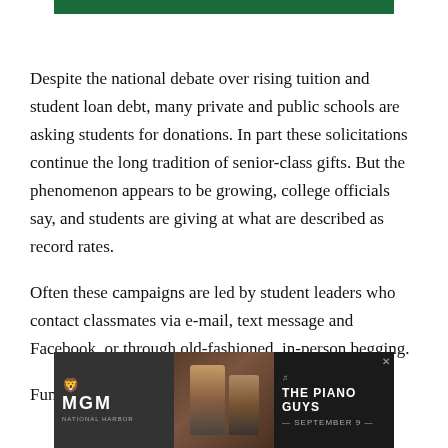[Figure (other): Green banner advertisement at top of page]
Despite the national debate over rising tuition and student loan debt, many private and public schools are asking students for donations. In part these solicitations continue the long tradition of senior-class gifts. But the phenomenon appears to be growing, college officials say, and students are giving at what are described as record rates.
Often these campaigns are led by student leaders who contact classmates via e-mail, text message and Facebook, or through old-fashioned, in-person begging.
Fundraisers say they aren't necessarily seeking large
[Figure (photo): MGM National Harbor advertisement featuring The Piano Guys, September 9. Shows MGM logo on left, people in center photo, and The Piano Guys text on right with close button.]